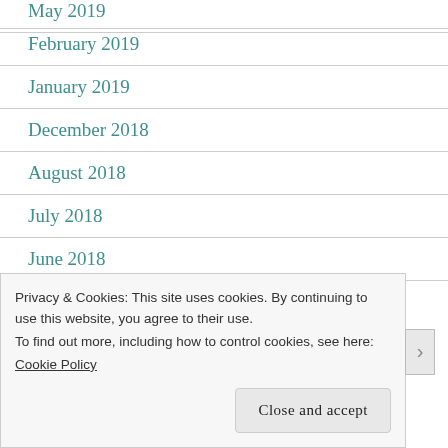May 2019
February 2019
January 2019
December 2018
August 2018
July 2018
June 2018
Privacy & Cookies: This site uses cookies. By continuing to use this website, you agree to their use.
To find out more, including how to control cookies, see here: Cookie Policy
Close and accept